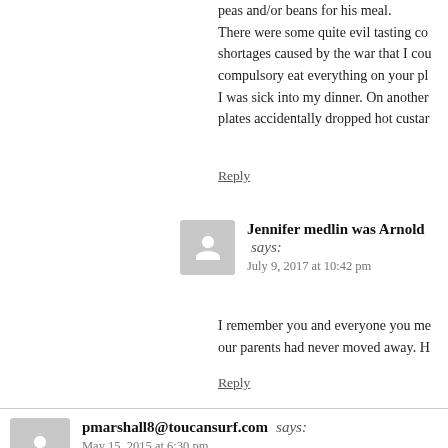peas and/or beans for his meal. There were some quite evil tasting co... shortages caused by the war that I co... compulsory eat everything on your pl... I was sick into my dinner. On another... plates accidentally dropped hot custar...
Reply
Jennifer medlin was Arnold says:
July 9, 2017 at 10:42 pm
I remember you and everyone you me... our parents had never moved away. H...
Reply
pmarshall8@toucansurf.com says:
May 15, 2015 at 6:30 pm